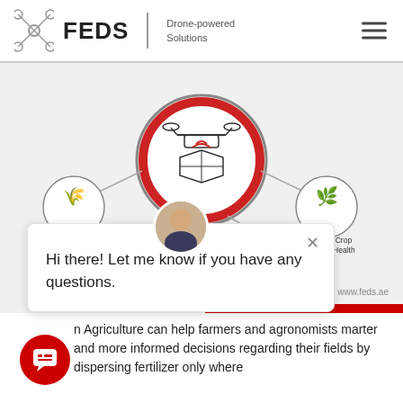[Figure (logo): FEDS Drone-powered Solutions logo with drone/propeller icon]
[Figure (infographic): Infographic showing drone agriculture benefits: Increase Yield, Improved Crop and Farm Health, Efficient Resource Usage, Greater Food [supply], with connecting lines to a central drone icon]
[Figure (screenshot): Chat popup overlay with avatar, close button, and text: Hi there! Let me know if you have any questions.]
n Agriculture can help farmers and agronomists marter and more informed decisions regarding their fields by dispersing fertilizer only where